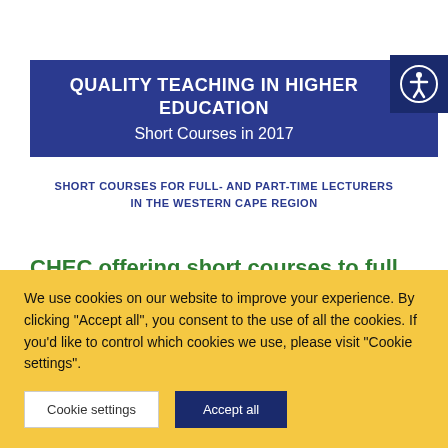QUALITY TEACHING IN HIGHER EDUCATION Short Courses in 2017
SHORT COURSES FOR FULL- AND PART-TIME LECTURERS IN THE WESTERN CAPE REGION
CHEC offering short courses to full and
We use cookies on our website to improve your experience. By clicking "Accept all", you consent to the use of all the cookies. If you'd like to control which cookies we use, please visit "Cookie settings".